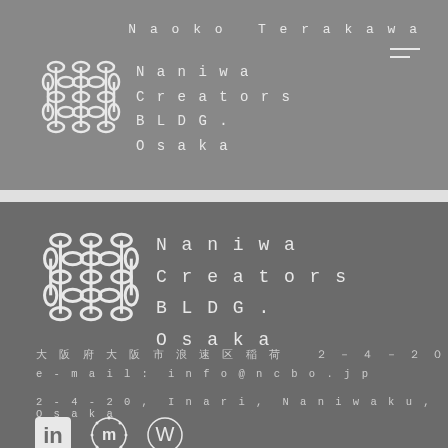Naoko Terakawa
[Figure (logo): Naniwa Creators BLDG. Osaka geometric knot logo (white on gray), top section]
Naniwa
Creators
BLDG.
Osaka
[Figure (logo): Naniwa Creators BLDG. Osaka geometric knot logo (white on dark gray), bottom section]
Naniwa
Creators
BLDG.
Osaka
大阪府大阪市浪速区稲荷　２－４－２０
e-mail: info@ncbo.jp
2-4-20, Inari, Naniwaku, Osaka
[Figure (logo): Social media icons: LinkedIn, Meetup, WordPress]
[Figure (logo): Additional social/app icons (partially visible at bottom)]